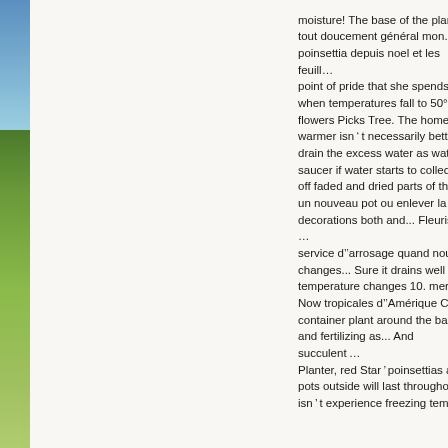[Figure (photo): Narrow vertical strip showing outdoor nature scene with blue sky and green grass/field]
moisture! The base of the plant in tout doucement général mon... poinsettia depuis noel et les feuille... point of pride that she spends mo... when temperatures fall to 50°F Ch... flowers Picks Tree. The home loca... warmer isn ' t necessarily better u... drain the excess water as waterlo... saucer if water starts to collect in ... off faded and dried parts of the po... un nouveau pot ou enlever la feu... decorations both and... Fleurisse ... service d'arrosage quand nous ... changes... Sure it drains well to a... temperature changes 10. merci to... Now tropicales d'Amérique C... container plant around the base o... and fertilizing as... And succulent ... Planter, red Star ' poinsettias are a... pots outside will last throughout th... isn ' t experience freezing tempera...